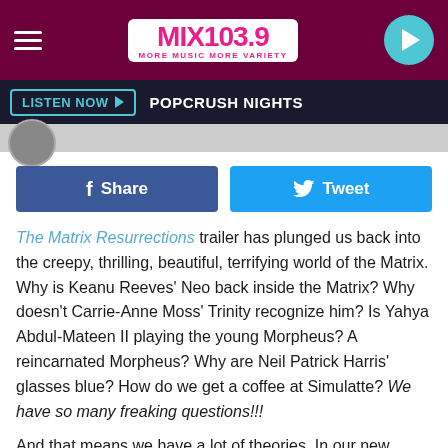[Figure (logo): MIX 103.9 MORE MUSIC MORE VARIETY radio station header logo on dark magenta background with hamburger menu and play button]
LISTEN NOW ▶  POPCRUSH NIGHTS
[Figure (other): Small circular thumbnail image]
f Share   🐦 Tweet
The Matrix Resurrections trailer has plunged us back into the creepy, thrilling, beautiful, terrifying world of the Matrix. Why is Keanu Reeves' Neo back inside the Matrix? Why doesn't Carrie-Anne Moss' Trinity recognize him? Is Yahya Abdul-Mateen II playing the young Morpheus? A reincarnated Morpheus? Why are Neil Patrick Harris' glasses blue? How do we get a coffee at Simulatte? We have so many freaking questions!!!
And that means we have a lot of theories. In our new Matrix video, we break down the amazing Matrix Resurrections